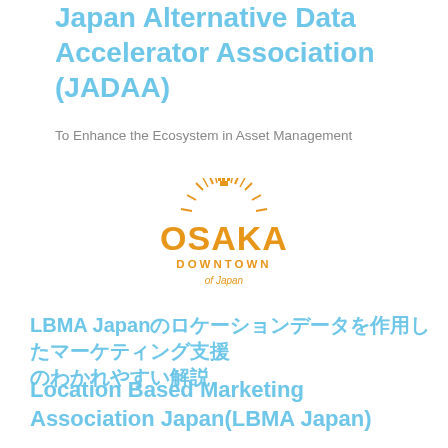Japan Alternative Data Accelerator Association (JADAA)
To Enhance the Ecosystem in Asset Management
[Figure (logo): Osaka Downtown of Japan logo in orange/gold colors featuring stylized letters OSAKA with sunburst and castle graphic, and text DOWNTOWN of Japan below]
LBMA Japanのロケーションデータを活用したマーケティング支援
Location Based Marketing Association Japan(LBMA Japan)